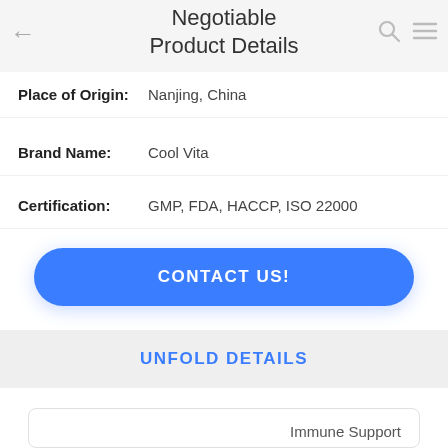Negotiable Product Details
Place of Origin: Nanjing, China
Brand Name: Cool Vita
Certification: GMP, FDA, HACCP, ISO 22000
CONTACT US!
UNFOLD DETAILS
Similar Products
Immune Support
Vitamin C Effervescent